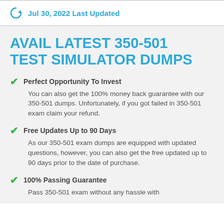Jul 30, 2022 Last Updated
AVAIL LATEST 350-501 TEST SIMULATOR DUMPS
Perfect Opportunity To Invest
You can also get the 100% money back guarantee with our 350-501 dumps. Unfortunately, if you got failed in 350-501 exam claim your refund.
Free Updates Up to 90 Days
As our 350-501 exam dumps are equipped with updated questions, however, you can also get the free updated up to 90 days prior to the date of purchase.
100% Passing Guarantee
Pass 350-501 exam without any hassle with